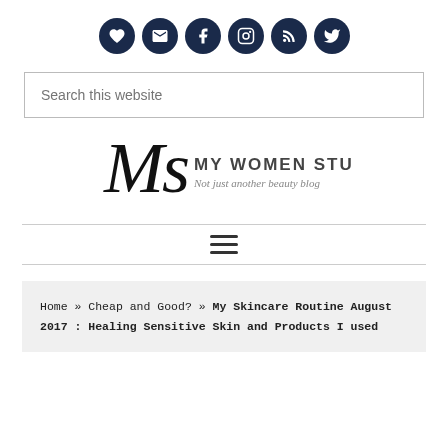[Figure (other): Row of 6 dark navy circular social media icon buttons: heart/Bloglovin, email/envelope, Facebook, Instagram, RSS, Twitter]
[Figure (other): Search input box with placeholder text 'Search this website']
[Figure (logo): My Women Stuff logo — cursive 'Ms' monogram beside bold text 'MY WOMEN STUFF' with tagline 'Not just another beauty blog']
[Figure (other): Hamburger/menu icon (three horizontal lines) centered between two horizontal divider lines]
Home » Cheap and Good? » My Skincare Routine August 2017 : Healing Sensitive Skin and Products I used